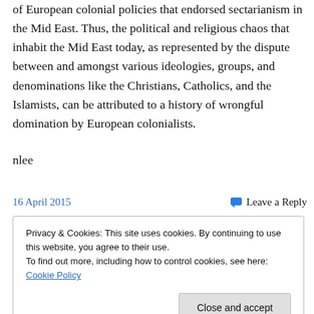of European colonial policies that endorsed sectarianism in the Mid East. Thus, the political and religious chaos that inhabit the Mid East today, as represented by the dispute between and amongst various ideologies, groups, and denominations like the Christians, Catholics, and the Islamists, can be attributed to a history of wrongful domination by European colonialists.
nlee
16 April 2015    Leave a Reply
Privacy & Cookies: This site uses cookies. By continuing to use this website, you agree to their use.
To find out more, including how to control cookies, see here: Cookie Policy
Close and accept